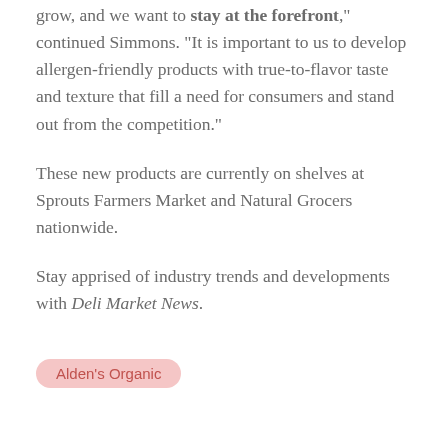grow, and we want to stay at the forefront," continued Simmons. "It is important to us to develop allergen-friendly products with true-to-flavor taste and texture that fill a need for consumers and stand out from the competition."
These new products are currently on shelves at Sprouts Farmers Market and Natural Grocers nationwide.
Stay apprised of industry trends and developments with Deli Market News.
Alden’s Organic